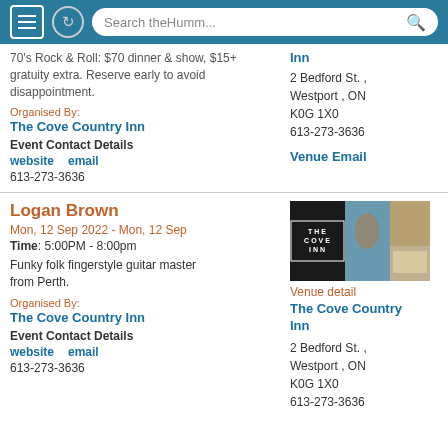Search theHumm...
70's Rock & Roll: $70 dinner & show, $15+ gratuity extra. Reserve early to avoid disappointment.
Organised By:
The Cove Country Inn
Event Contact Details
website   email
613-273-3636
Inn
2 Bedford St. ,
Westport , ON
K0G 1X0
613-273-3636
Venue Email
Logan Brown
Mon, 12 Sep 2022 - Mon, 12 Sep
Time: 5:00PM - 8:00pm
Funky folk fingerstyle guitar master from Perth.
Organised By:
The Cove Country Inn
Event Contact Details
website   email
613-273-3636
[Figure (photo): The Cove Inn logo and venue photos collage]
Venue detail
The Cove Country Inn
2 Bedford St. ,
Westport , ON
K0G 1X0
613-273-3636